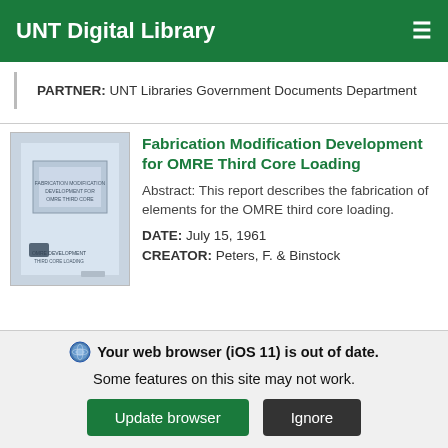UNT Digital Library
PARTNER: UNT Libraries Government Documents Department
Fabrication Modification Development for OMRE Third Core Loading
Abstract: This report describes the fabrication of elements for the OMRE third core loading.
DATE: July 15, 1961
CREATOR: Peters, F. & Binstock
[Figure (photo): Thumbnail image of a document cover page for OMRE fabrication report]
Your web browser (iOS 11) is out of date. Some features on this site may not work.